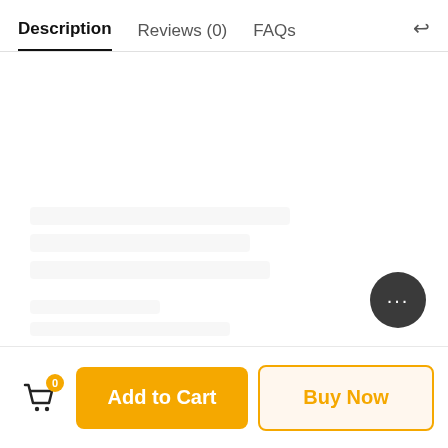Description  Reviews (0)  FAQs
[Figure (screenshot): Empty product description content area with faded placeholder blocks]
Add to Cart
Buy Now